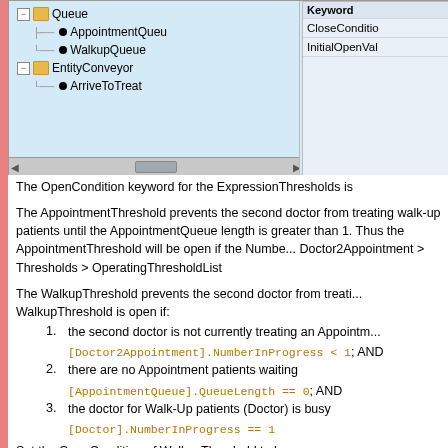[Figure (screenshot): Software UI screenshot showing a tree panel with Queue, AppointmentQueue, WalkupQueue, EntityConveyor, ArriveToTreat nodes, and a properties panel showing CloseCondition and InitialOpenVal rows]
The OpenCondition keyword for the ExpressionThresholds is
The AppointmentThreshold prevents the second doctor from treating walk-up patients until the AppointmentQueue length is greater than 1. Thus the AppointmentThreshold will be open if the Number... Doctor2Appointment > Thresholds > OperatingThresholdList
The WalkupThreshold prevents the second doctor from treating walk-up patients. The WalkupThreshold is open if:
1. the second doctor is not currently treating an Appointment
[Doctor2Appointment].NumberInProgress < 1; AND
2. there are no Appointment patients waiting
[AppointmentQueue].QueueLength == 0; AND
3. the doctor for Walk-Up patients (Doctor) is busy
[Doctor].NumberInProgress == 1
Set the OpenCondition of WalkupThreshold to be